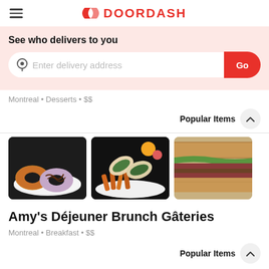DOORDASH
See who delivers to you
Enter delivery address | Go
Montreal • Desserts • $$
Popular Items
[Figure (photo): Three donuts on a white plate against a dark background — one glazed orange and two with purple and chocolate drizzle icing]
[Figure (photo): Two burritos/wraps cut open showing greens and filling, served with sweet potato fries on a white plate, with fruit in the background]
[Figure (photo): A sandwich with multiple layers of meat and greens on whole-grain bread, partially visible]
Amy's Déjeuner Brunch Gâteries
Montreal • Breakfast • $$
Popular Items